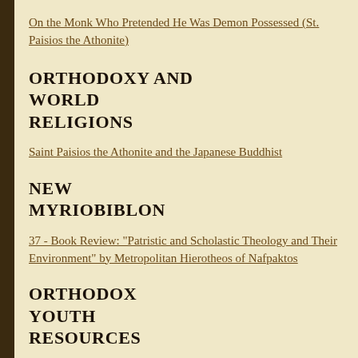On the Monk Who Pretended He Was Demon Possessed (St. Paisios the Athonite)
ORTHODOXY AND WORLD RELIGIONS
Saint Paisios the Athonite and the Japanese Buddhist
NEW MYRIOBIBLON
37 - Book Review: "Patristic and Scholastic Theology and Their Environment" by Metropolitan Hierotheos of Nafpaktos
ORTHODOX YOUTH RESOURCES